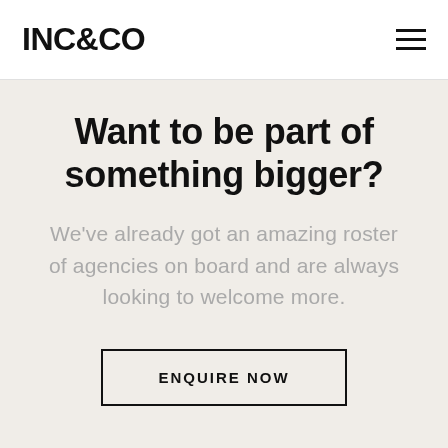INC&CO
Want to be part of something bigger?
We've already got an amazing roster of agencies on board and are always looking to welcome more.
ENQUIRE NOW